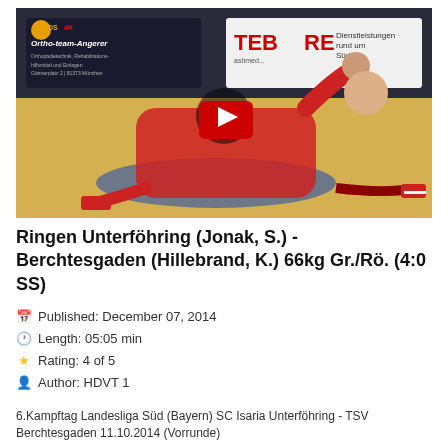[Figure (screenshot): Video thumbnail showing two wrestlers on a yellow mat, one in red pinning the other. Red play button overlay in center. Background banners including 'Ortho-team-Angerer' and 'TEBOORE'. HDS 4K logo in top left corner of video.]
Ringen Unterföhring (Jonak, S.) - Berchtesgaden (Hillebrand, K.) 66kg Gr./Rö. (4:0 SS)
Published: December 07, 2014
Length: 05:05 min
Rating: 4 of 5
Author: HDVT 1
6.Kampftag Landesliga Süd (Bayern) SC Isaria Unterföhring - TSV Berchtesgaden 11.10.2014 (Vorrunde)